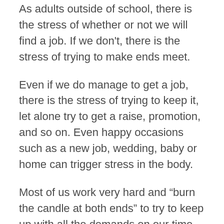As adults outside of school, there is the stress of whether or not we will find a job. If we don't, there is the stress of trying to make ends meet.
Even if we do manage to get a job, there is the stress of trying to keep it, let alone try to get a raise, promotion, and so on. Even happy occasions such as a new job, wedding, baby or home can trigger stress in the body.
Most of us work very hard and “burn the candle at both ends” to try to keep up with all the demands on our time every day. This can lead to a lack of sleep and “downtime” or relaxation to help recharge the body and mind. The lack of rest and downtime can, in turn, lead to a